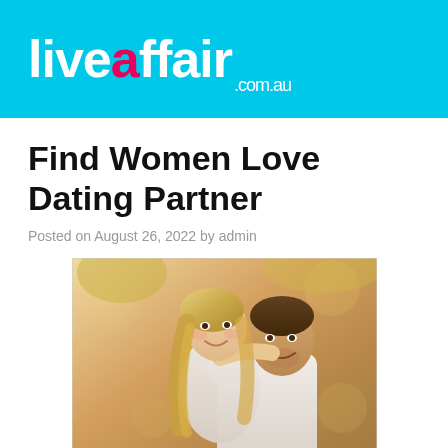liveaffair.com.au
Find Women Love Dating Partner
Posted on August 26, 2022 by admin
[Figure (photo): A couple outdoors — a blonde woman leaning over a man's shoulder from behind, both smiling at each other, warm autumn background]